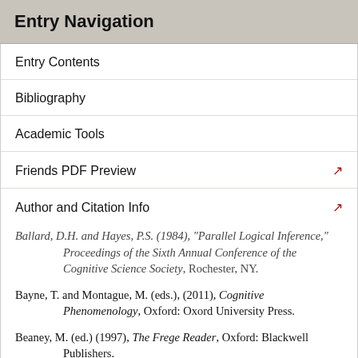Entry Navigation
Entry Contents
Bibliography
Academic Tools
Friends PDF Preview
Author and Citation Info
Ballard, D.H. and Hayes, P.S. (1984), "Parallel Logical Inference," Proceedings of the Sixth Annual Conference of the Cognitive Science Society, Rochester, NY.
Bayne, T. and Montague, M. (eds.), (2011), Cognitive Phenomenology, Oxford: Oxord University Press.
Beaney, M. (ed.) (1997), The Frege Reader, Oxford: Blackwell Publishers.
Berkeley, G. Principles of Human Knowledge, in M.R. Ayers (ed.), Berkeley: Philosophical Writings, London: Dent, 1975.